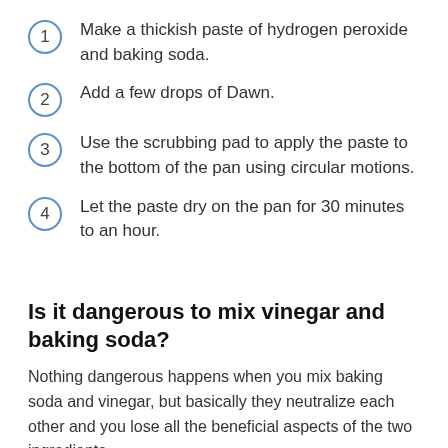Make a thickish paste of hydrogen peroxide and baking soda.
Add a few drops of Dawn.
Use the scrubbing pad to apply the paste to the bottom of the pan using circular motions.
Let the paste dry on the pan for 30 minutes to an hour.
Is it dangerous to mix vinegar and baking soda?
Nothing dangerous happens when you mix baking soda and vinegar, but basically they neutralize each other and you lose all the beneficial aspects of the two ingredients.
How do you make stainless steel look new again?